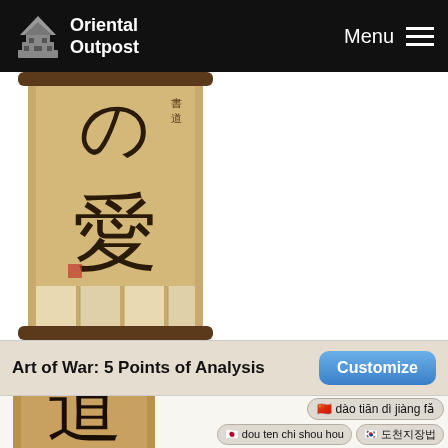Oriental Outpost  Menu
[Figure (photo): Japanese/Chinese calligraphy scroll showing characters for love (愛) with の above it, mounted on a decorative brown scroll with beige bottom panel]
Art of War: 5 Points of Analysis
Customize
[Figure (photo): Japanese/Chinese calligraphy scroll showing characters 道天地 (Dao Tian Di) mounted on a brown scroll with string ties at top]
dào tiān dì jiàng fǎ
dou ten chi shou hou
도천지장법
The first chapter of Sun Tzu's Art of War lists five key points to analyzing your situation.

It reads like a 5-part military proverb. Sun